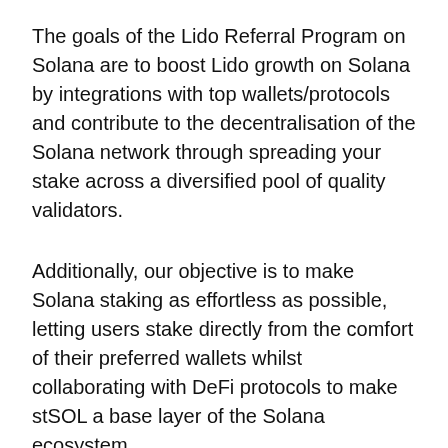The goals of the Lido Referral Program on Solana are to boost Lido growth on Solana by integrations with top wallets/protocols and contribute to the decentralisation of the Solana network through spreading your stake across a diversified pool of quality validators.
Additionally, our objective is to make Solana staking as effortless as possible, letting users stake directly from the comfort of their preferred wallets whilst collaborating with DeFi protocols to make stSOL a base layer of the Solana ecosystem.
How does it work?